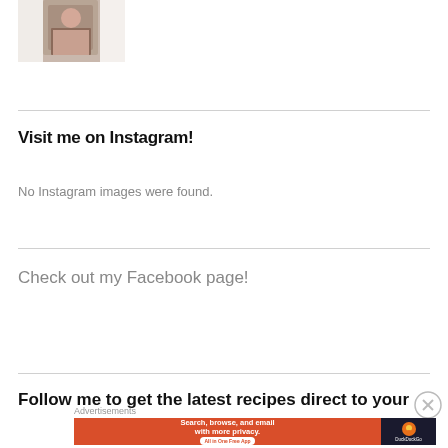[Figure (photo): Partial photo of a person wearing a patterned top, cropped at the top of the page]
Visit me on Instagram!
No Instagram images were found.
Check out my Facebook page!
Follow me to get the latest recipes direct to your
Advertisements
[Figure (screenshot): DuckDuckGo advertisement banner: 'Search, browse, and email with more privacy. All in One Free App' with DuckDuckGo logo on dark background]